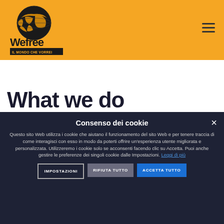[Figure (logo): WeFree logo — globe icon above 'Wefree' text with tagline 'IL MONDO CHE VORREI DIPENDE DA NOI' on orange background]
What we do
Consenso dei cookie
Questo sito Web utilizza i cookie che aiutano il funzionamento del sito Web e per tenere traccia di come interagisci con esso in modo da poterti offrire un'esperienza utente migliorata e personalizzata. Utilizzeremo i cookie solo se acconsenti facendo clic su Accetta. Puoi anche gestire le preferenze dei singoli cookie dalle Impostazioni. Leggi di più
IMPOSTAZIONI
RIFIUTA TUTTO
ACCETTA TUTTO